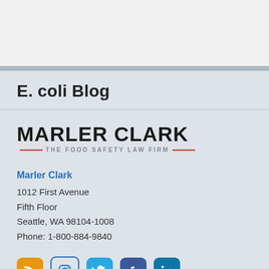E. coli Blog
[Figure (logo): Marler Clark – The Food Safety Law Firm logo with bold black text and red decorative lines]
Marler Clark
1012 First Avenue
Fifth Floor
Seattle, WA 98104-1008
Phone: 1-800-884-9840
[Figure (infographic): Row of five social media icons: RSS (orange), Instagram (outlined), Twitter (light blue), Facebook (dark blue), LinkedIn (blue)]
Privacy Policy | Disclaimer
Bl...